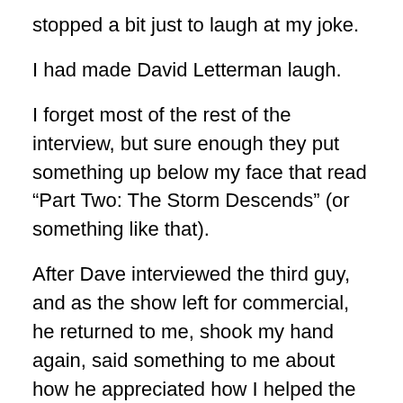stopped a bit just to laugh at my joke.
I had made David Letterman laugh.
I forget most of the rest of the interview, but sure enough they put something up below my face that read “Part Two: The Storm Descends” (or something like that).
After Dave interviewed the third guy, and as the show left for commercial, he returned to me, shook my hand again, said something to me about how he appreciated how I helped the bit, and got the joke.  Then he handed me a coveted “Late Night with David Letterman” sponge.
The letters have faded, but I still have it.
Here’s the best part:  About a month or two later, the show did a bit called the Late Night Emmy Awards.  There was a